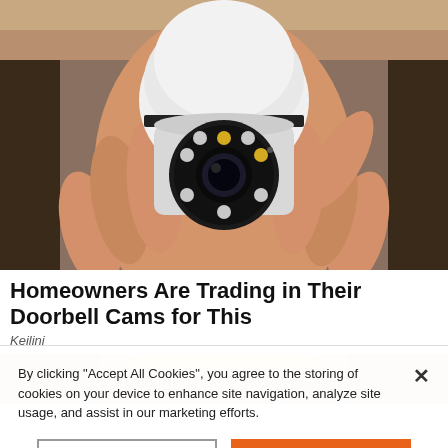[Figure (photo): A hand holding a small white dome-shaped security camera with multiple LED lights around the lens, photographed against a wooden background.]
Homeowners Are Trading in Their Doorbell Cams for This
Keilini
[Figure (photo): Partial photo showing a person with blonde hair, cropped showing only forehead and eyes area.]
By clicking “Accept All Cookies”, you agree to the storing of cookies on your device to enhance site navigation, analyze site usage, and assist in our marketing efforts.
Cookies Settings
Accept All Cookies